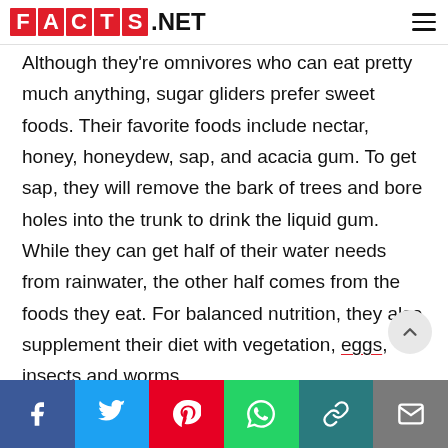FACTS.NET
Although they're omnivores who can eat pretty much anything, sugar gliders prefer sweet foods. Their favorite foods include nectar, honey, honeydew, sap, and acacia gum. To get sap, they will remove the bark of trees and bore holes into the trunk to drink the liquid gum. While they can get half of their water needs from rainwater, the other half comes from the foods they eat. For balanced nutrition, they also supplement their diet with vegetation, eggs, insects and worms.
Facebook Twitter Pinterest WhatsApp Link Email